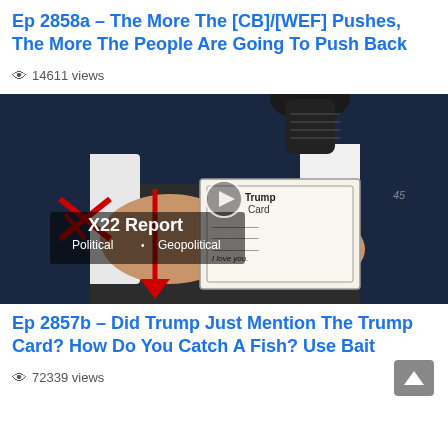Ep 2858a – The More The [CB]/[WEF] Pushes, The More The People Are Going To Push Back
👁 14611 views
[Figure (screenshot): Video thumbnail showing X22 Report logo overlay on image of hands holding a card labeled 'Trump Card' with a red arrow pointing down, and a microphone visible. Text reads 'X22 Report Political • Geopolitical' with a play button.]
Ep 2857b – Did Trump Just Mention The Trump Card? How Do You Catch A Fish? Use Bait
👁 72339 views